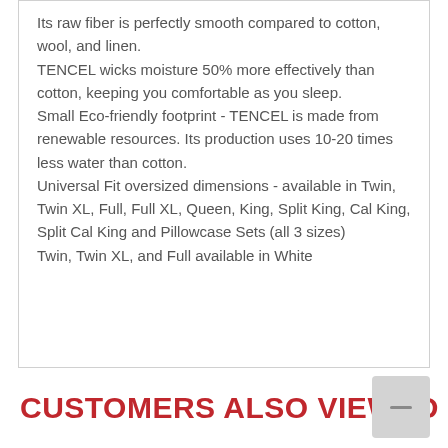Its raw fiber is perfectly smooth compared to cotton, wool, and linen. TENCEL wicks moisture 50% more effectively than cotton, keeping you comfortable as you sleep. Small Eco-friendly footprint - TENCEL is made from renewable resources. Its production uses 10-20 times less water than cotton. Universal Fit oversized dimensions - available in Twin, Twin XL, Full, Full XL, Queen, King, Split King, Cal King, Split Cal King and Pillowcase Sets (all 3 sizes) Twin, Twin XL, and Full available in White
CUSTOMERS ALSO VIEWED